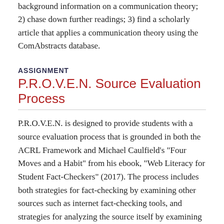background information on a communication theory; 2) chase down further readings; 3) find a scholarly article that applies a communication theory using the ComAbstracts database.
ASSIGNMENT
P.R.O.V.E.N. Source Evaluation Process
P.R.O.V.E.N. is designed to provide students with a source evaluation process that is grounded in both the ACRL Framework and Michael Caulfield's "Four Moves and a Habit" from his ebook, "Web Literacy for Student Fact-Checkers" (2017). The process includes both strategies for fact-checking by examining other sources such as internet fact-checking tools, and strategies for analyzing the source itself by examining its purpose, relevance, objectivity, verifiability, expertise, and newness.